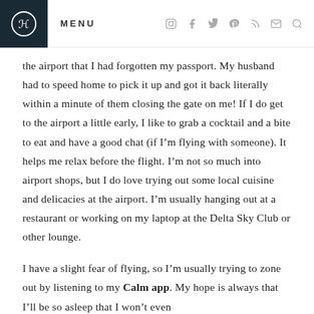MENU
the airport that I had forgotten my passport. My husband had to speed home to pick it up and got it back literally within a minute of them closing the gate on me! If I do get to the airport a little early, I like to grab a cocktail and a bite to eat and have a good chat (if I’m flying with someone). It helps me relax before the flight. I’m not so much into airport shops, but I do love trying out some local cuisine and delicacies at the airport. I’m usually hanging out at a restaurant or working on my laptop at the Delta Sky Club or other lounge.
I have a slight fear of flying, so I’m usually trying to zone out by listening to my Calm app. My hope is always that I’ll be so asleep that I won’t even